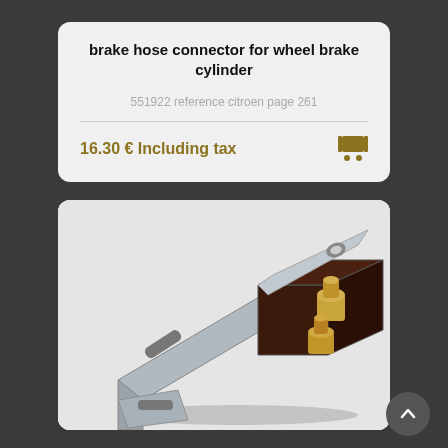brake hose connector for wheel brake cylinder
551922 reference citroen page 261
16.30 € Including tax
[Figure (photo): Close-up photo of a metal brake hose connector bracket with brass fittings, shown as a mechanical component for a wheel brake cylinder.]